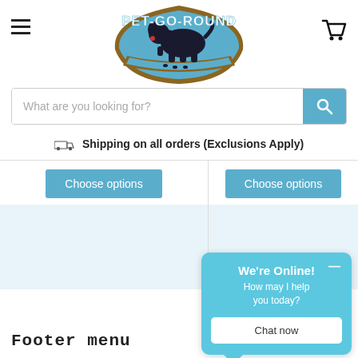[Figure (logo): Pet-Go-Round logo: a blue shield-shaped badge with a black Labrador puppy and the text PET-GO-ROUND in white]
What are you looking for?
Shipping on all orders (Exclusions Apply)
Choose options
Choose options
[Figure (screenshot): Chat widget popup: 'We're Online! How may I help you today?' with a 'Chat now' button]
Footer menu